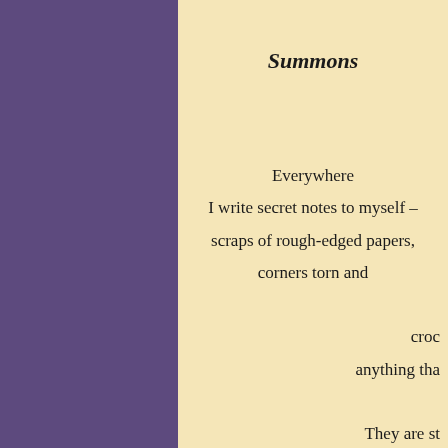Summons
Everywhere
I write secret notes to myself –
scraps of rough-edged papers,
corners torn and

croc
anything tha

They are st
or among c
sudden tho